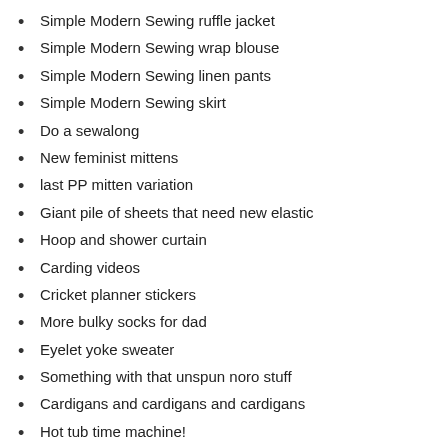Simple Modern Sewing ruffle jacket
Simple Modern Sewing wrap blouse
Simple Modern Sewing linen pants
Simple Modern Sewing skirt
Do a sewalong
New feminist mittens
last PP mitten variation
Giant pile of sheets that need new elastic
Hoop and shower curtain
Carding videos
Cricket planner stickers
More bulky socks for dad
Eyelet yoke sweater
Something with that unspun noro stuff
Cardigans and cardigans and cardigans
Hot tub time machine!
Optimize kitchen drawers
Optimize pantry